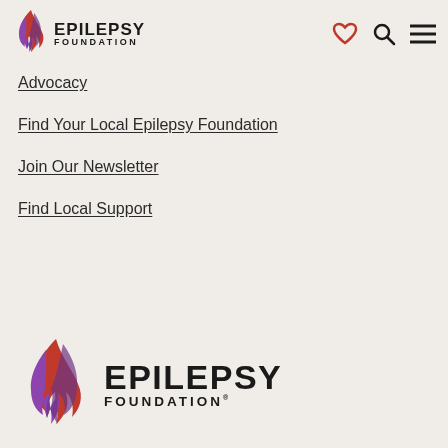[Figure (logo): Epilepsy Foundation logo in header — purple/red flame icon with EPILEPSY FOUNDATION text]
[Figure (other): Header navigation icons: heart, search magnifier, hamburger menu]
Advocacy
Find Your Local Epilepsy Foundation
Join Our Newsletter
Find Local Support
[Figure (logo): Epilepsy Foundation footer logo — large purple/red flame icon with EPILEPSY FOUNDATION text]